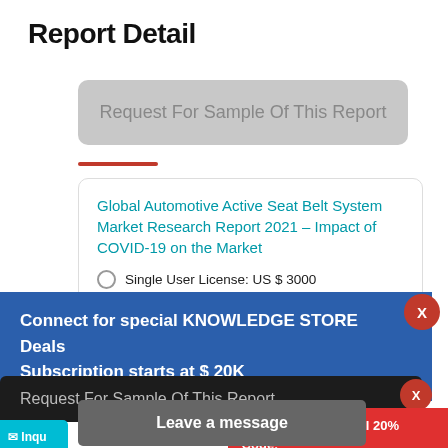Report Detail
Request For Sample Of This Report
Global Automotive Active Seat Belt System Market Research Report 2021 – Impact of COVID-19 on the Market
Single User License: US $ 3000
Corporate User License: US $ 6000
Buy Now
Connect for special KNOWLEDGE STORE Deals Subscription starts at $ 20K
Request For Sample Of This Report
Buy Any Report Avail 20% Code:
Leave a message
Inqu